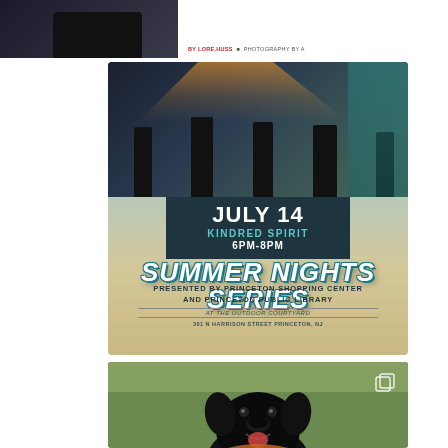[Figure (photo): Partial top strip showing cropped person photo on left and attribution text on right top]
BY LORE.HUSS | PHOTOGRAPHY BY A
[Figure (photo): Concert event poster - Summer Nights Series at Princeton Shopping Center. Band performing on stage with overlay text: JULY 14 / KINDRED SPIRIT / 6PM-8PM / SUMMER NIGHTS SERIES / PRESENTED BY PRINCETON SHOPPING CENTER AND PRINCETON PUBLIC LIBRARY / AT THE OUTDOOR COURTYARD / 301 N HARRISON STREET PRINCETON, NJ]
[Figure (photo): Black Labrador dog sitting on green grass, looking at camera, with gallery/copy icon in top right corner]